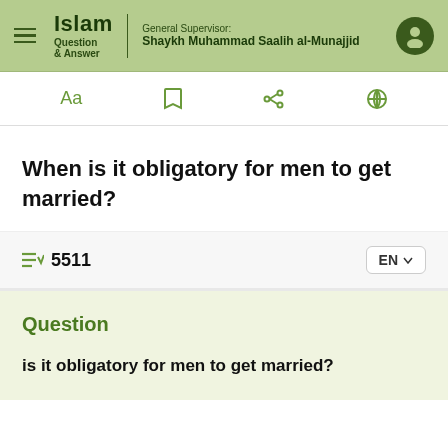Islam Question & Answer — General Supervisor: Shaykh Muhammad Saalih al-Munajjid
When is it obligatory for men to get married?
5511
Question
is it obligatory for men to get married?